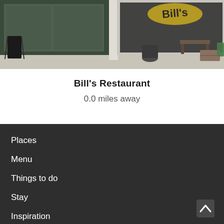[Figure (photo): Exterior photo of Bill's Restaurant storefront with green-framed display windows and the Bill's logo visible on the right side]
Bill's Restaurant
0.0 miles away
Places
Menu
Things to do
Stay
Inspiration